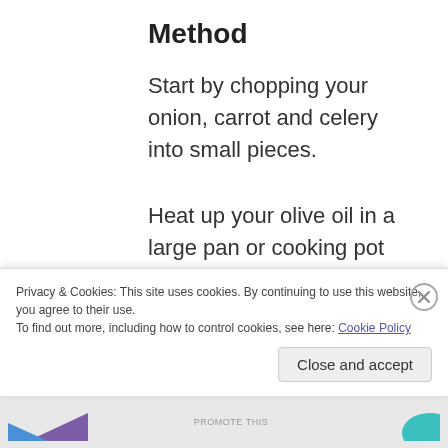Method
Start by chopping your onion, carrot and celery into small pieces.
Heat up your olive oil in a large pan or cooking pot and add your chopped onion, carrot and celery for 10 minutes or so stirring all the time. This is called a soffritto and it will give your sauce the most amazing aromatic flavour. You
Privacy & Cookies: This site uses cookies. By continuing to use this website, you agree to their use.
To find out more, including how to control cookies, see here: Cookie Policy